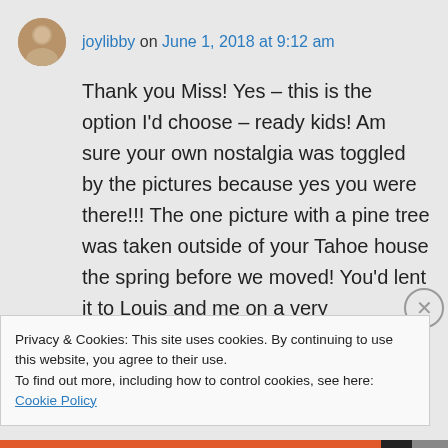joylibby on June 1, 2018 at 9:12 am
Thank you Miss! Yes – this is the option I'd choose – ready kids! Am sure your own nostalgia was toggled by the pictures because yes you were there!!! The one picture with a pine tree was taken outside of your Tahoe house the spring before we moved! You'd lent it to Louis and me on a very spontaneous over night ski trip. That
Privacy & Cookies: This site uses cookies. By continuing to use this website, you agree to their use.
To find out more, including how to control cookies, see here: Cookie Policy
Close and accept